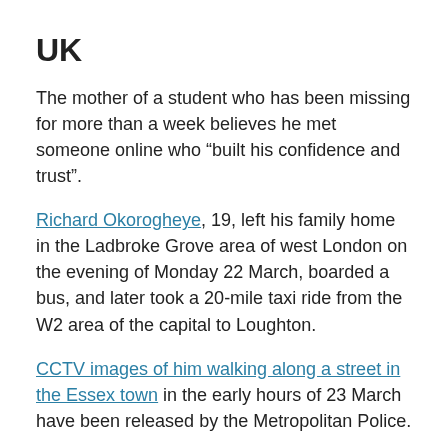UK
The mother of a student who has been missing for more than a week believes he met someone online who “built his confidence and trust”.
Richard Okorogheye, 19, left his family home in the Ladbroke Grove area of west London on the evening of Monday 22 March, boarded a bus, and later took a 20-mile taxi ride from the W2 area of the capital to Loughton.
CCTV images of him walking along a street in the Essex town in the early hours of 23 March have been released by the Metropolitan Police.
His mother Evidence Joel told Sky News correspondent